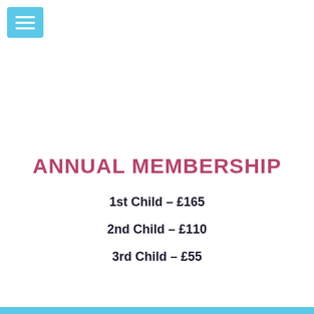[Figure (other): Blue hamburger menu button icon in top-left corner]
ANNUAL MEMBERSHIP
1st Child – £165
2nd Child – £110
3rd Child – £55